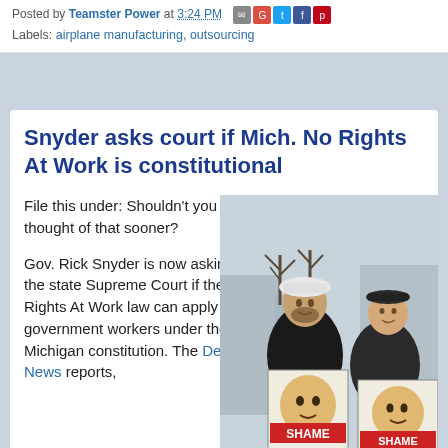Posted by Teamster Power at 3:24 PM
Labels: airplane manufacturing, outsourcing
Snyder asks court if Mich. No Rights At Work is constitutional
File this under: Shouldn't you have thought of that sooner?
Gov. Rick Snyder is now asking the state Supreme Court if the No Rights At Work law can apply to government workers under the Michigan constitution. The Detroit News reports,
[Figure (photo): Two men outdoors in winter holding protest signs with faces labeled OUTMAN and HOOKER with SHAME banners across them. One man wears a white hard hat.]